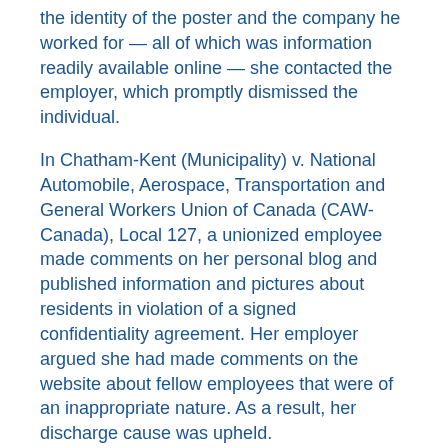the identity of the poster and the company he worked for — all of which was information readily available online — she contacted the employer, which promptly dismissed the individual.
In Chatham-Kent (Municipality) v. National Automobile, Aerospace, Transportation and General Workers Union of Canada (CAW-Canada), Local 127, a unionized employee made comments on her personal blog and published information and pictures about residents in violation of a signed confidentiality agreement. Her employer argued she had made comments on the website about fellow employees that were of an inappropriate nature. As a result, her discharge cause was upheld.
In Wasaya Airways LP v. Air Line Pilots Assn., International, a unionized employee's discipline for just cause was upheld because of the content on a personal...